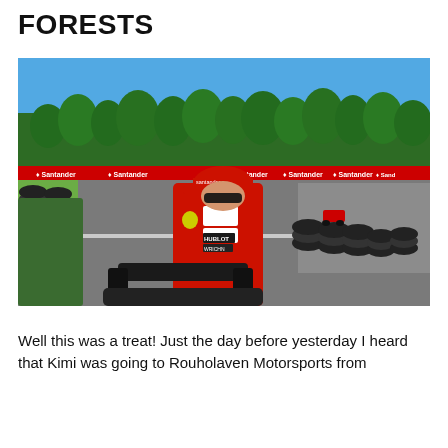FORESTS
[Figure (photo): A person wearing a red Ferrari racing suit and red cap with Santander branding stands at a go-kart track surrounded by stacked tires. The track has Santander sponsor banners along the barriers. A go-kart is visible on the track in the background. Dense pine forest and blue sky are visible in the background.]
Well this was a treat! Just the day before yesterday I heard that Kimi was going to Rouholaven Motorsports from